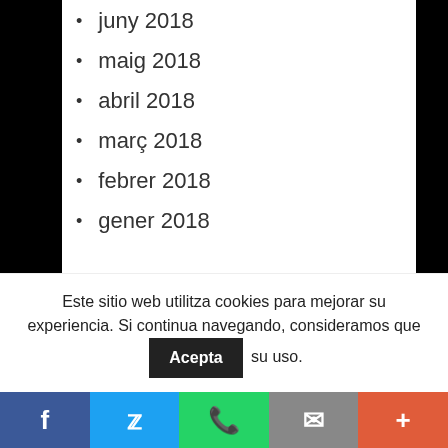juny 2018
maig 2018
abril 2018
març 2018
febrer 2018
gener 2018
Categories
NÚMERO 1
Este sitio web utilitza cookies para mejorar su experiencia. Si continua navegando, consideramos que  Acepta  su uso.